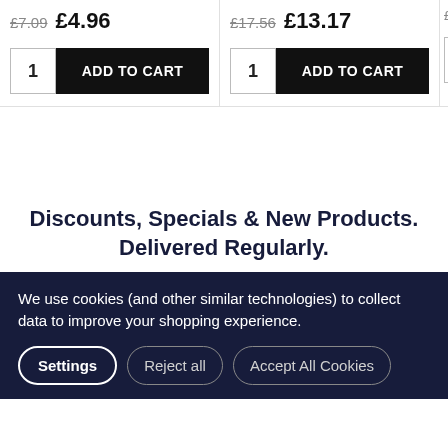£7.09  £4.96
1  ADD TO CART
£17.56  £13.17
1  ADD TO CART
£28...
1
Discounts, Specials & New Products. Delivered Regularly.
We use cookies (and other similar technologies) to collect data to improve your shopping experience.
Settings
Reject all
Accept All Cookies